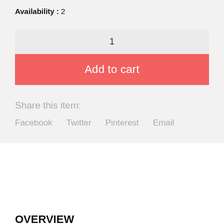Availability : 2
1
Add to cart
Share this item:
Facebook   Twitter   Pinterest   Email
OVERVIEW